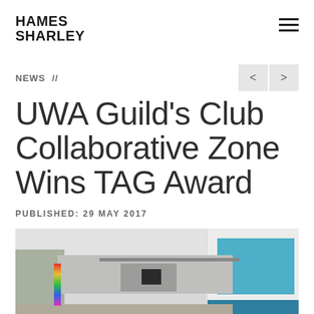Hames Sharley
NEWS //
UWA Guild's Club Collaborative Zone Wins TAG Award
PUBLISHED: 29 MAY 2017
[Figure (photo): Interior photograph of the UWA Guild's Club Collaborative Zone showing a corridor with track lighting on the ceiling, colorful vertical panels on the left, and a blue-accented room with blue cushions visible through a doorway on the right.]